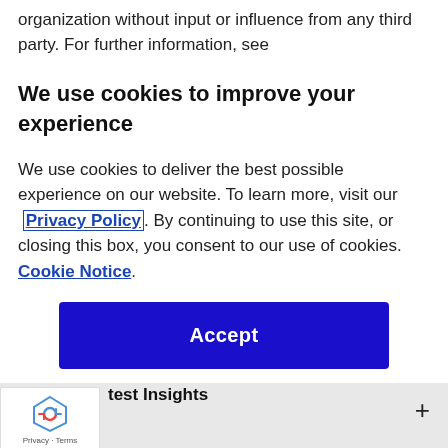organization without input or influence from any third party. For further information, see
We use cookies to improve your experience
We use cookies to deliver the best possible experience on our website. To learn more, visit our Privacy Policy. By continuing to use this site, or closing this box, you consent to our use of cookies. Cookie Notice.
[Figure (other): Blue Accept button]
test Insights
[Figure (other): reCAPTCHA badge with Privacy and Terms links]
[Figure (other): Social media icon row: YouTube, Twitter/X, LinkedIn, Facebook, Instagram]